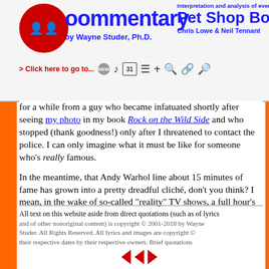Interpretation and analysis of every song by Pet Shop Boys — Commentary by Wayne Studer, Ph.D. — Chris Lowe & Neil Tennant
for a while from a guy who became infatuated shortly after seeing my photo in my book Rock on the Wild Side and who stopped (thank goodness!) only after I threatened to contact the police. I can only imagine what it must be like for someone who's really famous.
In the meantime, that Andy Warhol line about 15 minutes of fame has grown into a pretty dreadful cliché, don't you think? I mean, in the wake of so-called "reality" TV shows, a full hour's more like it. (Please note that I'm casting no aspersions on the Pet Shop Boys' "Shameless," which is a terrific song even if it does allude to that whole "15 minutes" business.)
All text on this website aside from direct quotations (such as of lyrics and of other nonoriginal content) is copyright © 2001-2018 by Wayne Studer. All Rights Reserved. All lyrics and images are copyright © their respective dates by their respective owners. Brief quotations